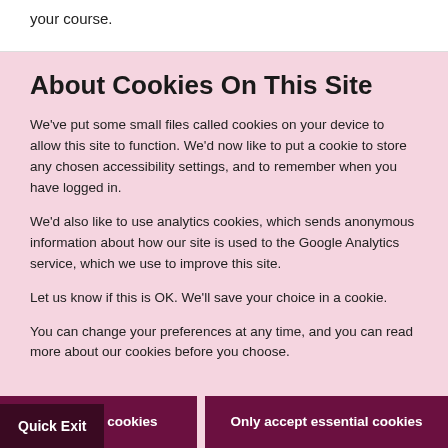your course.
About Cookies On This Site
We've put some small files called cookies on your device to allow this site to function. We'd now like to put a cookie to store any chosen accessibility settings, and to remember when you have logged in.
We'd also like to use analytics cookies, which sends anonymous information about how our site is used to the Google Analytics service, which we use to improve this site.
Let us know if this is OK. We'll save your choice in a cookie.
You can change your preferences at any time, and you can read more about our cookies before you choose.
Accept all cookies
Only accept essential cookies
Quick Exit